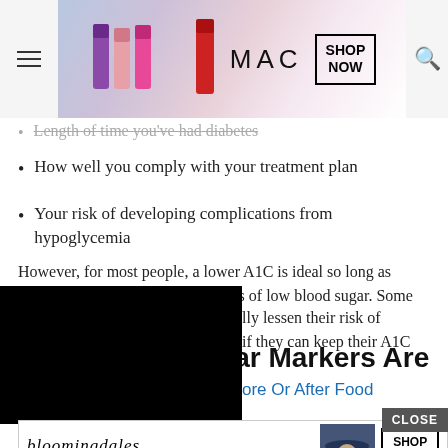[Figure (screenshot): MAC cosmetics advertisement banner with lipsticks in purple, pink, and red colors, MAC logo, and SHOP NOW button]
Length of time you've had diabetes (strikethrough/obscured)
How well you comply with your treatment plan
Your risk of developing complications from hypoglycemia
However, for most people, a lower A1C is ideal so long as they're not having frequent bouts of low blood sugar. Some [obscured] lessen their risk of [obscured] if they can keep their A1C
ore Or After Food
What Blood Sugar Markers Are
Reli
[Figure (screenshot): Bloomingdales advertisement banner with logo, woman in blue hat, View Today's Top Deals text, and SHOP NOW button]